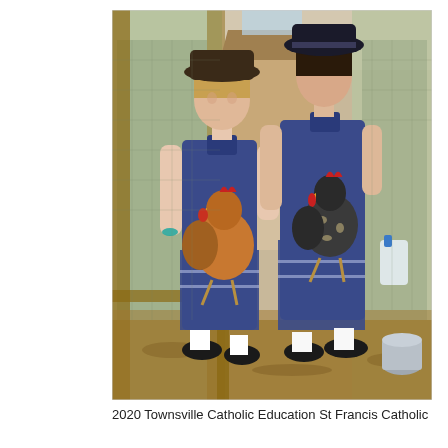[Figure (photo): Two school girls in blue plaid uniforms and wide-brim hats each holding a chicken (one brown/golden, one dark/speckled) inside a chicken coop enclosure with wire mesh walls, dirt floor, and a wooden chicken house structure in the background. Both girls are smiling at each other.]
2020 Townsville Catholic Education St Francis Catholic